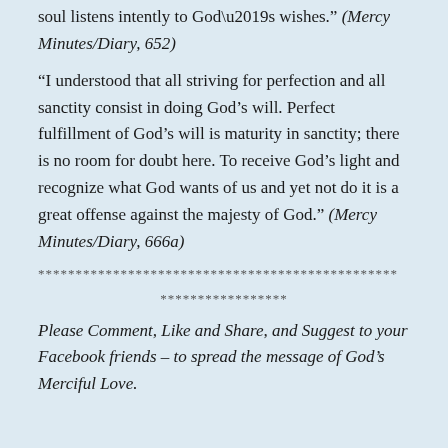soul listens intently to God’s wishes.” (Mercy Minutes/Diary, 652)
“I understood that all striving for perfection and all sanctity consist in doing God’s will. Perfect fulfillment of God’s will is maturity in sanctity; there is no room for doubt here. To receive God’s light and recognize what God wants of us and yet not do it is a great offense against the majesty of God.” (Mercy Minutes/Diary, 666a)
************************************************
******************
Please Comment, Like and Share, and Suggest to your Facebook friends – to spread the message of God’s Merciful Love.